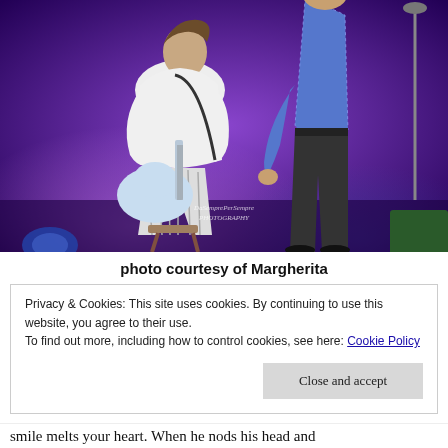[Figure (photo): Concert photo of two musicians on stage with purple lighting. A person in a white shirt sits playing a white guitar, wearing striped pants. Another person in a blue patterned jacket stands to the right. Stage lights and dark background. Watermark reads 'DaSemprePerSempre PHOTOGRAPHY'.]
photo courtesy of Margherita
Privacy & Cookies: This site uses cookies. By continuing to use this website, you agree to their use.
To find out more, including how to control cookies, see here: Cookie Policy
[Close and accept]
smile melts your heart. When he nods his head and